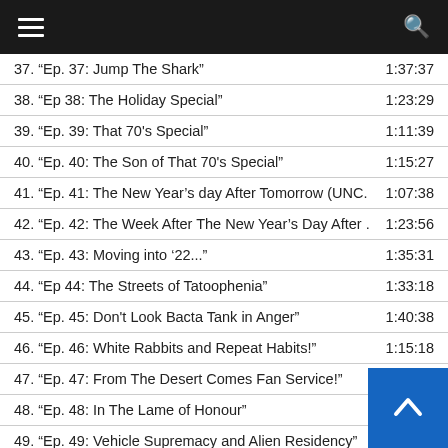Navigation menu and search bar
37. “Ep. 37: Jump The Shark”
38. “Ep 38: The Holiday Special”
39. “Ep. 39: That 70's Special”
40. “Ep. 40: The Son of That 70's Special”
41. “Ep. 41: The New Year’s day After Tomorrow (UNC.
42. “Ep. 42: The Week After The New Year’s Day After .
43. “Ep. 43: Moving into ’22...”
44. “Ep 44: The Streets of Tatoophenia”
45. “Ep. 45: Don't Look Bacta Tank in Anger”
46. “Ep. 46: White Rabbits and Repeat Habits!”
47. “Ep. 47: From The Desert Comes Fan Service!”
48. “Ep. 48: In The Lame of Honour”
49. “Ep. 49: Vehicle Supremacy and Alien Residency”
50. “Ep. 50: 50 Shades of What We Say!”
51. “Ep. 51: By The Power of Spin Offs”
52. “Ep 52: The 80s Throwback”
53. “Ep. 53: The 80's Strike Back!”
54. “Ep. 54: The Quest For More Listeners!”